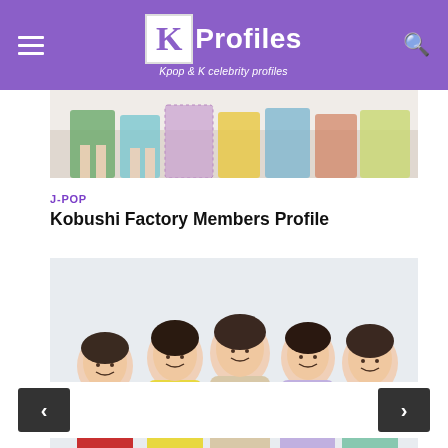KProfiles – Kpop & K celebrity profiles
[Figure (photo): Partial view of group members' lower bodies with colorful skirts/outfits]
J-POP
Kobushi Factory Members Profile
[Figure (photo): Group photo of Kobushi Factory members, 9 young women in colorful outfits arranged in two rows]
< navigation prev / next >